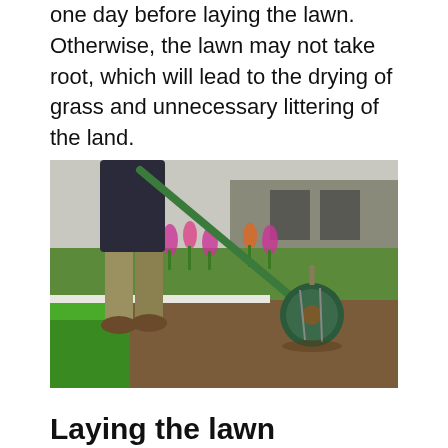one day before laying the lawn. Otherwise, the lawn may not take root, which will lead to the drying of grass and unnecessary littering of the land.
[Figure (photo): A person using a lawn roller on soil, with a garden bed of tulips and a building in the background. The foreground shows bright green grass on the left and tilled brown soil on the right.]
Laying the lawn